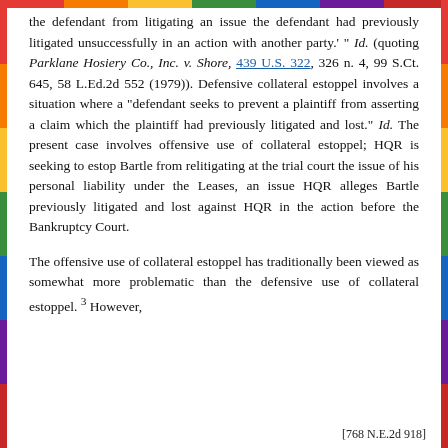the defendant from litigating an issue the defendant had previously litigated unsuccessfully in an action with another party.' " Id. (quoting Parklane Hosiery Co., Inc. v. Shore, 439 U.S. 322, 326 n. 4, 99 S.Ct. 645, 58 L.Ed.2d 552 (1979)). Defensive collateral estoppel involves a situation where a "defendant seeks to prevent a plaintiff from asserting a claim which the plaintiff had previously litigated and lost." Id. The present case involves offensive use of collateral estoppel; HQR is seeking to estop Bartle from relitigating at the trial court the issue of his personal liability under the Leases, an issue HQR alleges Bartle previously litigated and lost against HQR in the action before the Bankruptcy Court.
The offensive use of collateral estoppel has traditionally been viewed as somewhat more problematic than the defensive use of collateral estoppel. 3 However,
[768 N.E.2d 918]